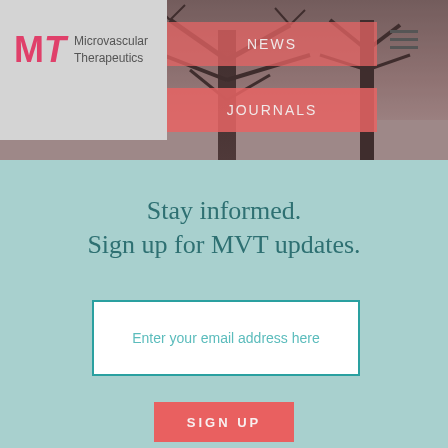[Figure (screenshot): Microvascular Therapeutics website screenshot showing header with logo, navigation menu items NEWS and JOURNALS over a winter tree hero image, an email signup section with teal background reading 'Stay informed. Sign up for MVT updates.' with an email input field and a SIGN UP button.]
NEWS
JOURNALS
Stay informed.
Sign up for MVT updates.
Enter your email address here
SIGN UP